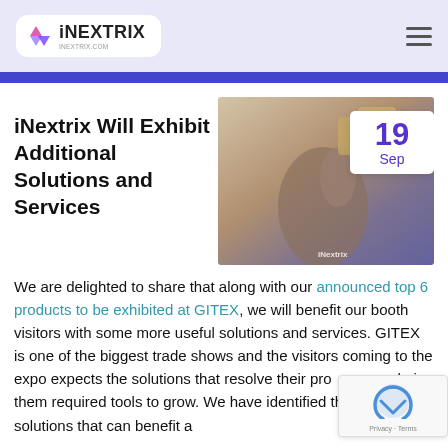iNEXTRIX
iNextrix Will Exhibit Additional Solutions and Services
[Figure (photo): Hand holding puzzle pieces with date badge showing 19 Sep and iNextrix logo watermark]
We are delighted to share that along with our announced top 6 products to be exhibited at GITEX, we will benefit our booth visitors with some more useful solutions and services. GITEX is one of the biggest trade shows and the visitors coming to the expo expects the solutions that resolve their problems and give them required tools to grow. We have identified the top 6 solutions that can benefit a